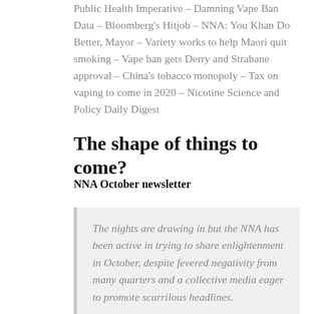Public Health Imperative – Damning Vape Ban Data – Bloomberg's Hitjob – NNA: You Khan Do Better, Mayor – Variety works to help Maori quit smoking – Vape ban gets Derry and Strabane approval – China's tobacco monopoly – Tax on vaping to come in 2020 – Nicotine Science and Policy Daily Digest
The shape of things to come?
NNA October newsletter
The nights are drawing in but the NNA has been active in trying to share enlightenment in October, despite fevered negativity from many quarters and a collective media eager to promote scurrilous headlines.
This month saw developments, good and bad